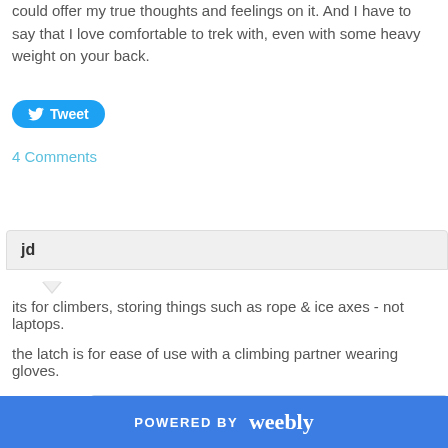could offer my true thoughts and feelings on it. And I have to say that I love comfortable to trek with, even with some heavy weight on your back.
Tweet
4 Comments
jd
its for climbers, storing things such as rope & ice axes - not laptops.
the latch is for ease of use with a climbing partner wearing gloves.
Brandon Scott →
Yes, of course. Simply put, I am not a climber, but this pack does w
POWERED BY weebly